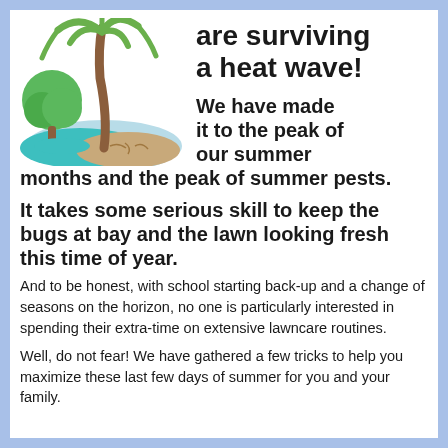[Figure (illustration): Cartoon illustration of a palm tree and green tree on a half-blue half-brown mound, representing a tropical/summer scene during a heat wave.]
are surviving a heat wave!
We have made it to the peak of our summer months and the peak of summer pests.
It takes some serious skill to keep the bugs at bay and the lawn looking fresh this time of year.
And to be honest, with school starting back-up and a change of seasons on the horizon, no one is particularly interested in spending their extra-time on extensive lawncare routines.
Well, do not fear! We have gathered a few tricks to help you maximize these last few days of summer for you and your family.